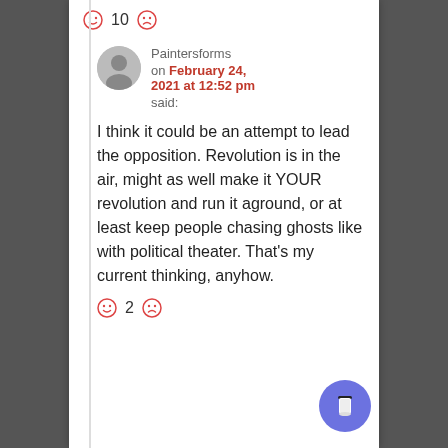[Figure (infographic): Vote row with smiley face icons and count 10]
Paintersforms on February 24, 2021 at 12:52 pm said:
I think it could be an attempt to lead the opposition. Revolution is in the air, might as well make it YOUR revolution and run it aground, or at least keep people chasing ghosts like with political theater. That's my current thinking, anyhow.
[Figure (infographic): Vote row with smiley face icons and count 2]